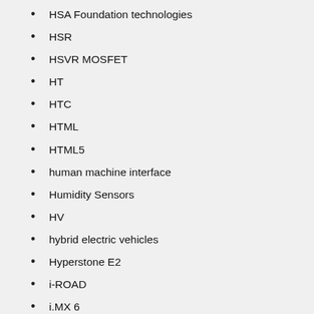HSA Foundation technologies
HSR
HSVR MOSFET
HT
HTC
HTML
HTML5
human machine interface
Humidity Sensors
HV
hybrid electric vehicles
Hyperstone E2
i-ROAD
i.MX 6
i.MX28 Evaluation Kit
i.MX28x
i.MX applications processors
i.MXCommunity
I/O Hub